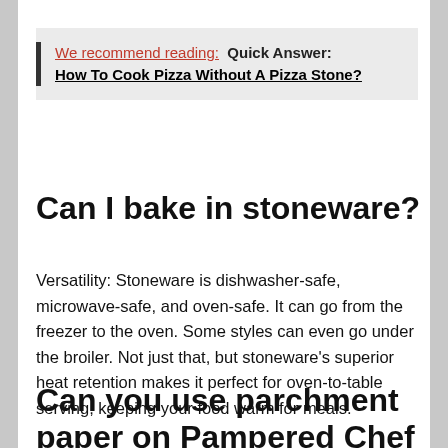We recommend reading:  Quick Answer: How To Cook Pizza Without A Pizza Stone?
Can I bake in stoneware?
Versatility: Stoneware is dishwasher-safe, microwave-safe, and oven-safe. It can go from the freezer to the oven. Some styles can even go under the broiler. Not just that, but stoneware's superior heat retention makes it perfect for oven-to-table serving, keeping your food warm for meals.
Can you use parchment paper on Pampered Chef